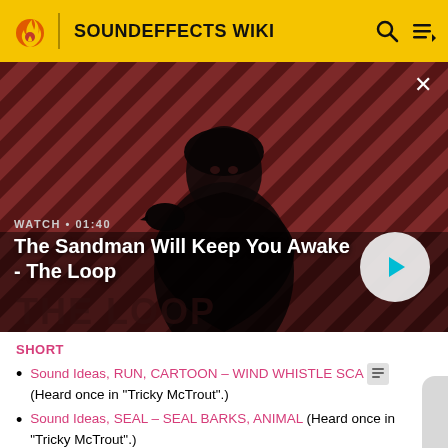SOUNDEFFECTS WIKI
[Figure (screenshot): Video thumbnail for 'The Sandman Will Keep You Awake - The Loop' showing a dark figure with a crow on shoulder against a red and black diagonal striped background. WATCH · 01:40]
WATCH · 01:40
The Sandman Will Keep You Awake - The Loop
SHORT
Sound Ideas, RUN, CARTOON – WIND WHISTLE SCA (Heard once in "Tricky McTrout".)
Sound Ideas, SEAL – SEAL BARKS, ANIMAL (Heard once in "Tricky McTrout".)